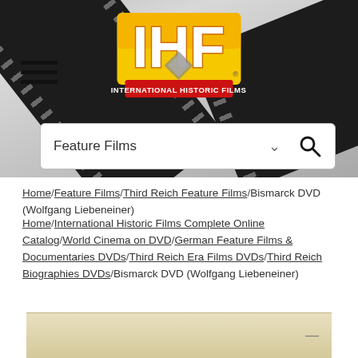[Figure (screenshot): International Historic Films website header with film strip background, IHF logo, hamburger menu icon, and search bar showing 'Feature Films']
Home / Feature Films / Third Reich Feature Films / Bismarck DVD (Wolfgang Liebeneiner)
Home / International Historic Films Complete Online Catalog / World Cinema on DVD / German Feature Films & Documentaries DVDs / Third Reich Era Films DVDs / Third Reich Biographies DVDs / Bismarck DVD (Wolfgang Liebeneiner)
[Figure (photo): Partial cream/beige colored image at the bottom of the page]